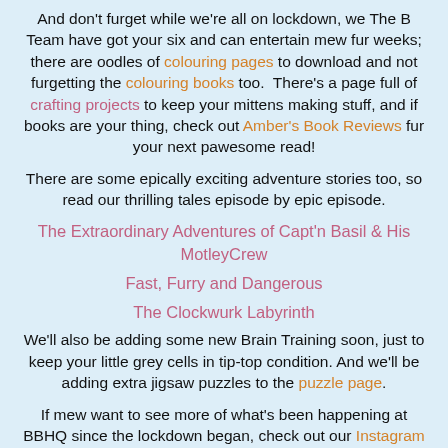And don't furget while we're all on lockdown, we The B Team have got your six and can entertain mew fur weeks; there are oodles of colouring pages to download and not furgetting the colouring books too. There's a page full of crafting projects to keep your mittens making stuff, and if books are your thing, check out Amber's Book Reviews fur your next pawesome read!
There are some epically exciting adventure stories too, so read our thrilling tales episode by epic episode.
The Extraordinary Adventures of Capt'n Basil & His MotleyCrew
Fast, Furry and Dangerous
The Clockwurk Labyrinth
We'll also be adding some new Brain Training soon, just to keep your little grey cells in tip-top condition. And we'll be adding extra jigsaw puzzles to the puzzle page.
If mew want to see more of what's been happening at BBHQ since the lockdown began, check out our Instagram